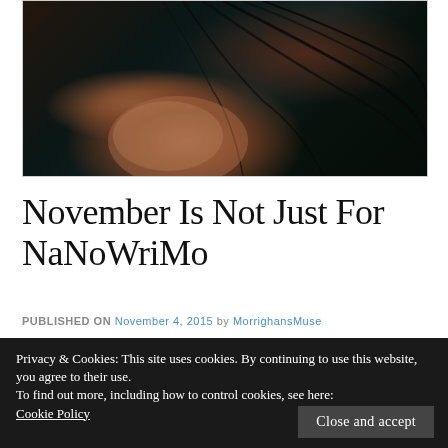[Figure (photo): Dark atmospheric photo of a person's face partially submerged or lying down, with long dark hair spread around, mostly dark tones with warm skin tones visible]
November Is Not Just For NaNoWriMo
PUBLISHED ON November 4, 2015 by MorrighansMuse
Privacy & Cookies: This site uses cookies. By continuing to use this website, you agree to their use.
To find out more, including how to control cookies, see here:
Cookie Policy
Close and accept